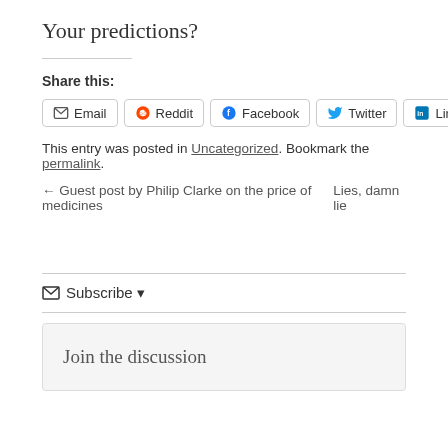Your predictions?
Share this:
[Figure (other): Social share buttons: Email, Reddit, Facebook, Twitter, LinkedIn]
This entry was posted in Uncategorized. Bookmark the permalink.
← Guest post by Philip Clarke on the price of medicines   Lies, damn lie
✉ Subscribe ▾
Join the discussion